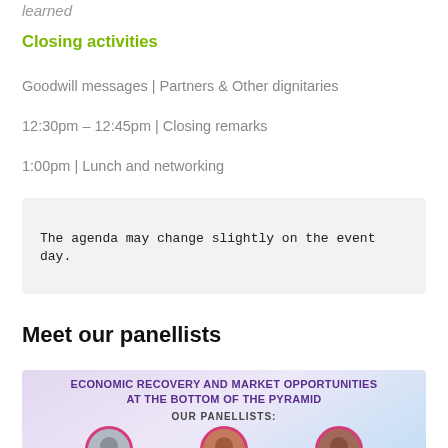learned
Closing activities
Goodwill messages | Partners & Other dignitaries
12:30pm – 12:45pm | Closing remarks
1:00pm | Lunch and networking
The agenda may change slightly on the event day.
Meet our panellists
[Figure (infographic): Panellists infographic for 'Economic Recovery and Market Opportunities at the Bottom of the Pyramid' showing three circular portrait photos with a purple/lavender gradient background. Title reads 'OUR PANELLISTS:' with three partially visible headshots in pink-bordered circles.]